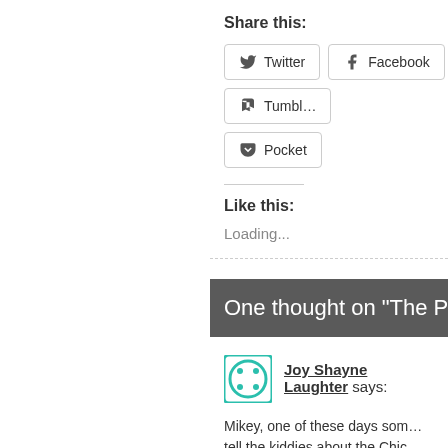Share this:
[Figure (other): Social sharing buttons: Twitter, Facebook, Tumblr, Pocket]
Like this:
Loading...
One thought on “The Pe…
Joy Shayne Laughter says:
Mikey, one of these days som… tell the kiddies about the Chic…
I t’ink you gotta lotta valuable…